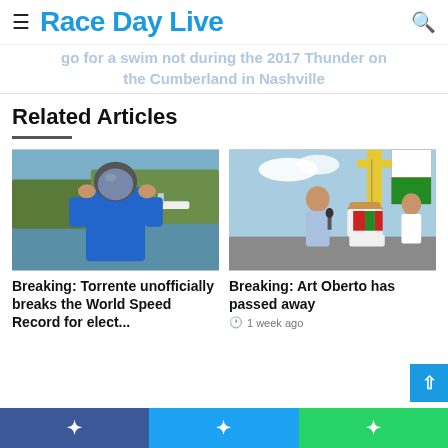Race Day Live
go for a swim not during the 2017 Thunder on the Cumberland in Nashville
Related Articles
[Figure (photo): Person in blue shirt and helmet removing helmet near water with boats in background]
Breaking: Torrente unofficially breaks the World Speed Record for electric-powered boats
[Figure (photo): Reporter interviewing Art Oberto seated outdoors in racing gear near watercraft and crane]
Breaking: Art Oberto has passed away
1 week ago